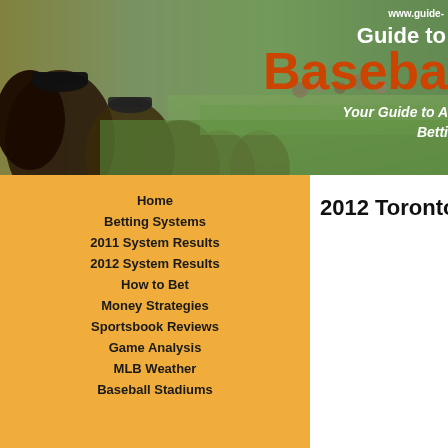[Figure (photo): Baseball stadium header banner showing crowd of spectators in foreground watching a baseball game, with green field visible in background. Overlay text reads 'www.guide-' at top right, 'Guide to' in white, 'Baseba' in large orange-red bold text, 'Your Guide to A Betti' in white italic.]
Home
Betting Systems
2011 System Results
2012 System Results
How to Bet
Money Strategies
Sportsbook Reviews
Game Analysis
MLB Weather
Baseball Stadiums
2012 Toronto Blue Ja